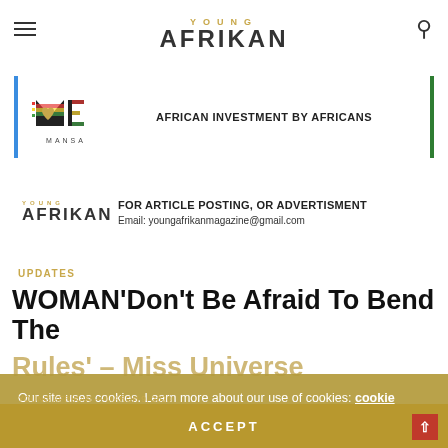YOUNG AFRIKAN
[Figure (infographic): Mansa investment ad with logo and tagline: AFRICAN INVESTMENT BY AFRICANS, bordered with blue left and green right lines]
[Figure (infographic): Young Afrikan magazine ad: FOR ARTICLE POSTING, OR ADVERTISMENT. Email: youngafrikanmagazine@gmail.com]
UPDATES
WOMAN'Don't Be Afraid To Bend The Rules' – Miss Universe
Our site uses cookies. Learn more about our use of cookies: cookie policy
YOUNG AFRIKAN — MARCH 9, 2020
ACCEPT